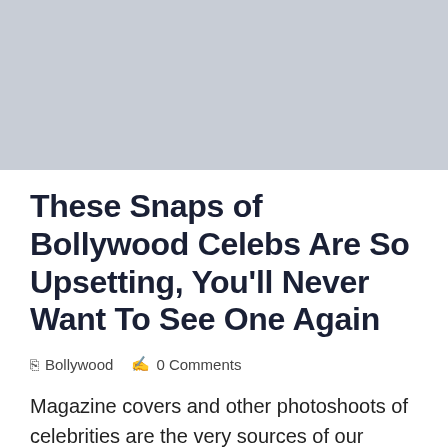[Figure (other): Gray advertisement banner placeholder at top of page]
These Snaps of Bollywood Celebs Are So Upsetting, You'll Never Want To See One Again
Bollywood   0 Comments
Magazine covers and other photoshoots of celebrities are the very sources of our inspiration when it comes to our knowledge about fashion, make-up and hair. The celebrities' presence in the very pictures makes us want to achieve that level of perfection but